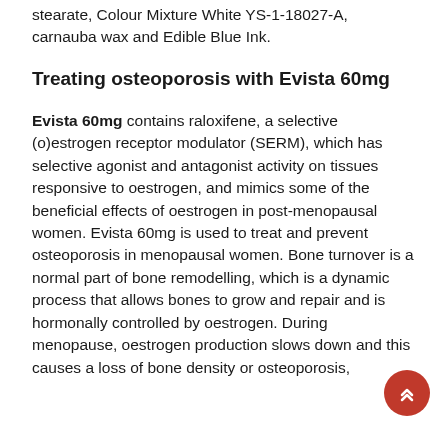stearate, Colour Mixture White YS-1-18027-A, carnauba wax and Edible Blue Ink.
Treating osteoporosis with Evista 60mg
Evista 60mg contains raloxifene, a selective (o)estrogen receptor modulator (SERM), which has selective agonist and antagonist activity on tissues responsive to oestrogen, and mimics some of the beneficial effects of oestrogen in post-menopausal women. Evista 60mg is used to treat and prevent osteoporosis in menopausal women. Bone turnover is a normal part of bone remodelling, which is a dynamic process that allows bones to grow and repair and is hormonally controlled by oestrogen. During menopause, oestrogen production slows down and this causes a loss of bone density or osteoporosis,